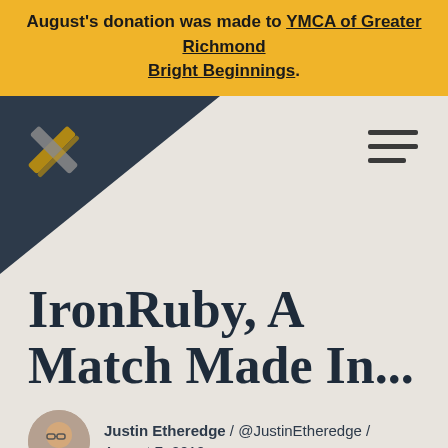August's donation was made to YMCA of Greater Richmond Bright Beginnings.
[Figure (logo): Site logo with X/cross mark in gold on dark navy background triangle, hamburger menu icon on right]
IronRuby, A Match Made In...
Justin Etheredge / @JustinEtheredge / August 7, 2010